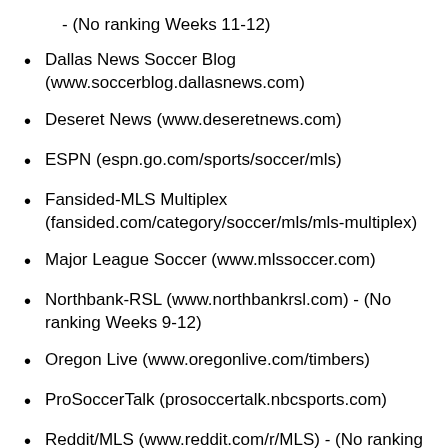- (No ranking Weeks 11-12)
Dallas News Soccer Blog (www.soccerblog.dallasnews.com)
Deseret News (www.deseretnews.com)
ESPN (espn.go.com/sports/soccer/mls)
Fansided-MLS Multiplex (fansided.com/category/soccer/mls/mls-multiplex)
Major League Soccer (www.mlssoccer.com)
Northbank-RSL (www.northbankrsl.com) - (No ranking Weeks 9-12)
Oregon Live (www.oregonlive.com/timbers)
ProSoccerTalk (prosoccertalk.nbcsports.com)
Reddit/MLS (www.reddit.com/r/MLS) - (No ranking